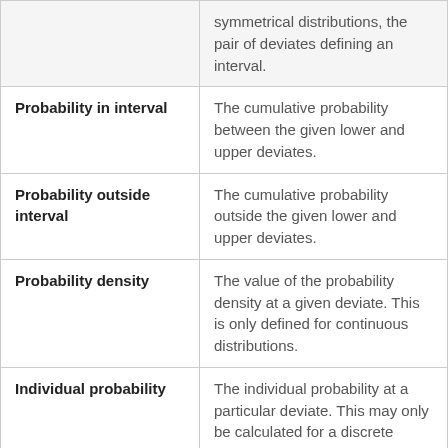| Term | Definition |
| --- | --- |
|  | symmetrical distributions, the pair of deviates defining an interval. |
| Probability in interval | The cumulative probability between the given lower and upper deviates. |
| Probability outside interval | The cumulative probability outside the given lower and upper deviates. |
| Probability density | The value of the probability density at a given deviate. This is only defined for continuous distributions. |
| Individual probability | The individual probability at a particular deviate. This may only be calculated for a discrete |